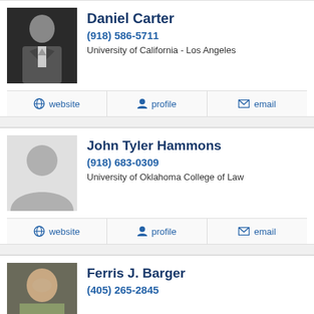[Figure (photo): Professional headshot of Daniel Carter in suit, black and white photo]
Daniel Carter
(918) 586-5711
University of California - Los Angeles
website  profile  email
[Figure (photo): Placeholder silhouette photo for John Tyler Hammons]
John Tyler Hammons
(918) 683-0309
University of Oklahoma College of Law
website  profile  email
[Figure (photo): Photo of Ferris J. Barger, older man smiling]
Ferris J. Barger
(405) 265-2845